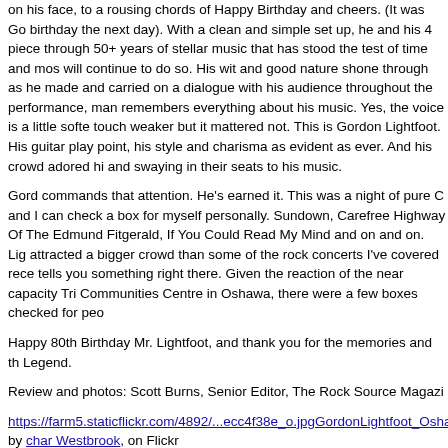on his face, to a rousing chords of Happy Birthday and cheers. (It was Go birthday the next day). With a clean and simple set up, he and his 4 piece through 50+ years of stellar music that has stood the test of time and mos will continue to do so. His wit and good nature shone through as he made and carried on a dialogue with his audience throughout the performance, man remembers everything about his music. Yes, the voice is a little softe touch weaker but it mattered not. This is Gordon Lightfoot. His guitar play point, his style and charisma as evident as ever. And his crowd adored hi and swaying in their seats to his music.
Gord commands that attention. He's earned it. This was a night of pure C and I can check a box for myself personally. Sundown, Carefree Highway Of The Edmund Fitgerald, If You Could Read My Mind and on and on. Lig attracted a bigger crowd than some of the rock concerts I've covered rece tells you something right there. Given the reaction of the near capacity Tri Communities Centre in Oshawa, there were a few boxes checked for peo
Happy 80th Birthday Mr. Lightfoot, and thank you for the memories and th Legend.
Review and photos: Scott Burns, Senior Editor, The Rock Source Magazi
https://farm5.staticflickr.com/4892/...ecc4f38e_o.jpgGordonLightfoot_Osha by char Westbrook, on Flickr
https://farm5.staticflickr.com/4870/...9400f845_o.jpgGordonLightfoot_Osh by char Westbrook, on Flickr
https://farm5.staticflickr.com/4881/...71b1c60f_o.jpgGordonLightfoot_Osh by char Westbrook, on Flickr